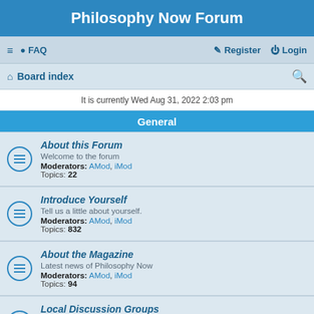Philosophy Now Forum
≡  FAQ    Register   Login
Board index  🔍
It is currently Wed Aug 31, 2022 2:03 pm
General
About this Forum
Welcome to the forum
Moderators: AMod, iMod
Topics: 22
Introduce Yourself
Tell us a little about yourself.
Moderators: AMod, iMod
Topics: 832
About the Magazine
Latest news of Philosophy Now
Moderators: AMod, iMod
Topics: 94
Local Discussion Groups
Philosophy Now meetup groups.
Moderators: AMod, iMod
Topics: 49
The Lounge
General chit-chat.